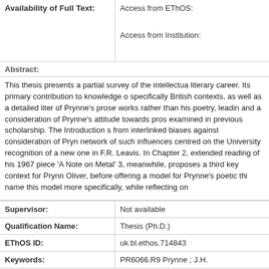| Availability of Full Text: | Access from EThOS:

Access from Institution: |
Abstract:
This thesis presents a partial survey of the intellectual literary career. Its primary contribution to knowledge specifically British contexts, as well as a detailed literary of Prynne's prose works rather than his poetry, leading and a consideration of Prynne's attitude towards prose examined in previous scholarship. The Introduction s from interlinked biases against consideration of Prynne network of such influences centred on the University recognition of a new one in F.R. Leavis. In Chapter 2, extended reading of his 1967 piece 'A Note on Metal' 3, meanwhile, proposes a third key context for Prynne Oliver, before offering a model for Prynne's poetic thinking name this model more specifically, while reflecting on
| Supervisor: | Not available |
| --- | --- |
| Qualification Name: | Thesis (Ph.D.) |
| EThOS ID: | uk.bl.ethos.714843 |
| Keywords: | PR6066.R9 Prynne ; J.H. |